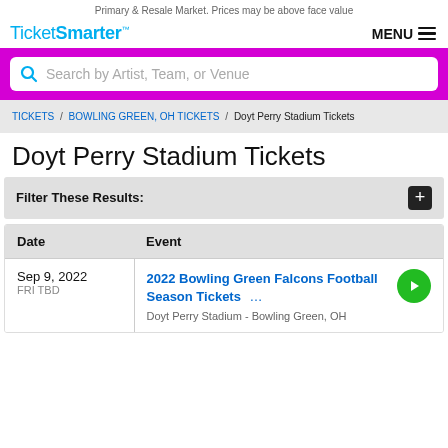Primary & Resale Market. Prices may be above face value
TicketSmarter
MENU
[Figure (screenshot): Search bar with magnifying glass icon, placeholder text: Search by Artist, Team, or Venue, magenta/pink background]
TICKETS / BOWLING GREEN, OH TICKETS / Doyt Perry Stadium Tickets
Doyt Perry Stadium Tickets
Filter These Results:
| Date | Event |
| --- | --- |
| Sep 9, 2022 FRI TBD | 2022 Bowling Green Falcons Football Season Tickets
Doyt Perry Stadium - Bowling Green, OH |
2022 Bowling Green Falcons Football Season Tickets